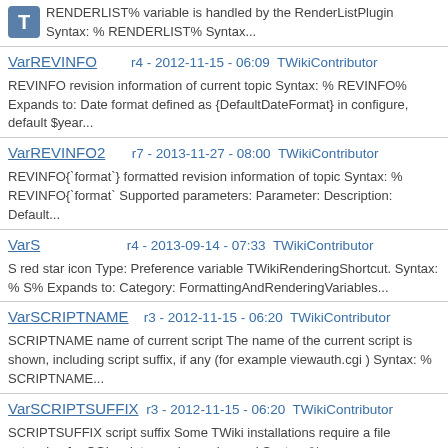RENDERLIST% variable is handled by the RenderListPlugin Syntax: % RENDERLIST% Syntax...
VarREVINFO   r4 - 2012-11-15 - 06:09  TWikiContributor
REVINFO revision information of current topic Syntax: % REVINFO% Expands to: Date format defined as {DefaultDateFormat} in configure, default $year...
VarREVINFO2   r7 - 2013-11-27 - 08:00  TWikiContributor
REVINFO{`format`} formatted revision information of topic Syntax: % REVINFO{`format` Supported parameters: Parameter: Description: Default...
VarS   r4 - 2013-09-14 - 07:33  TWikiContributor
S red star icon Type: Preference variable TWikiRenderingShortcut. Syntax: % S% Expands to: Category: FormattingAndRenderingVariables...
VarSCRIPTNAME   r3 - 2012-11-15 - 06:20  TWikiContributor
SCRIPTNAME name of current script The name of the current script is shown, including script suffix, if any (for example viewauth.cgi ) Syntax: % SCRIPTNAME...
VarSCRIPTSUFFIX   r3 - 2012-11-15 - 06:20  TWikiContributor
SCRIPTSUFFIX script suffix Some TWiki installations require a file extension for CGI scripts, such as .pl or .cgi Syntax: %